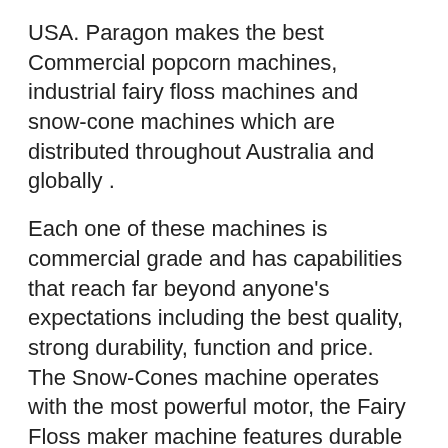USA. Paragon makes the best Commercial popcorn machines, industrial fairy floss machines and snow-cone machines which are distributed throughout Australia and globally .
Each one of these machines is commercial grade and has capabilities that reach far beyond anyone's expectations including the best quality, strong durability, function and price.  The Snow-Cones machine operates with the most powerful motor, the Fairy Floss maker machine features durable tubular heating elements and spinning heads. The Popcorn maker provides appetising, delicious cinema quality poppercorn.
The strength and solidly built machines will give your business a great return on investment (ROI). Our state of the art products ensure durability, a long warranty and a full range of spare parts from our warehouse.
*All our machines have a full warranty and spare parts support.
We look forward to serving you and your business with